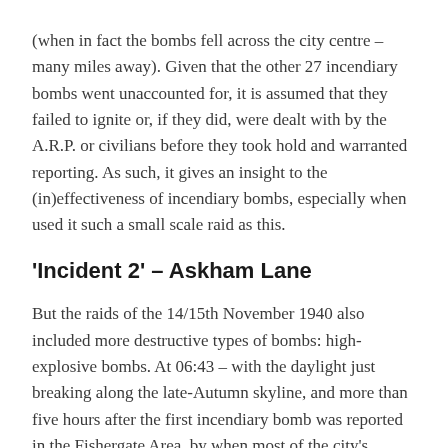(when in fact the bombs fell across the city centre – many miles away). Given that the other 27 incendiary bombs went unaccounted for, it is assumed that they failed to ignite or, if they did, were dealt with by the A.R.P. or civilians before they took hold and warranted reporting. As such, it gives an insight to the (in)effectiveness of incendiary bombs, especially when used it such a small scale raid as this.
'Incident 2' – Askham Lane
But the raids of the 14/15th November 1940 also included more destructive types of bombs: high-explosive bombs. At 06:43 – with the daylight just breaking along the late-Autumn skyline, and more than five hours after the first incendiary bomb was reported in the Fishergate Area, by when most of the city's civilians